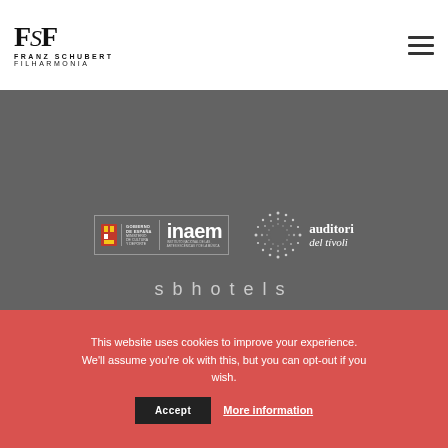[Figure (logo): Franz Schubert Filharmonia logo with FSF monogram and text FRANZ SCHUBERT FILHARMONIA]
[Figure (logo): INAEM - Instituto Nacional de las Artes Escenicas y de la Musica logo with Spain coat of arms and government ministry branding]
[Figure (logo): Auditori del tívoli logo with dotted circle graphic and italic text]
sbhotels
This website uses cookies to improve your experience. We'll assume you're ok with this, but you can opt-out if you wish.
Accept
More information